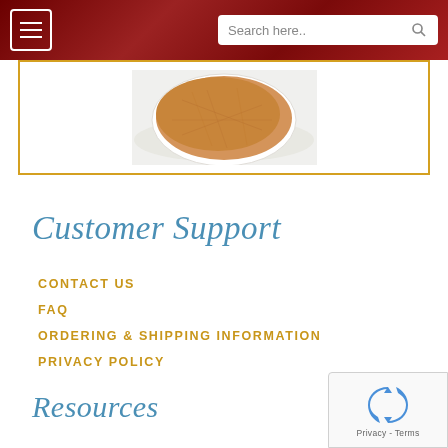Search here..
[Figure (photo): Partial view of a food product (appears to be a baked good or cracker) on a white plate inside an orange-bordered box]
Customer Support
CONTACT US
FAQ
ORDERING & SHIPPING INFORMATION
PRIVACY POLICY
Resources